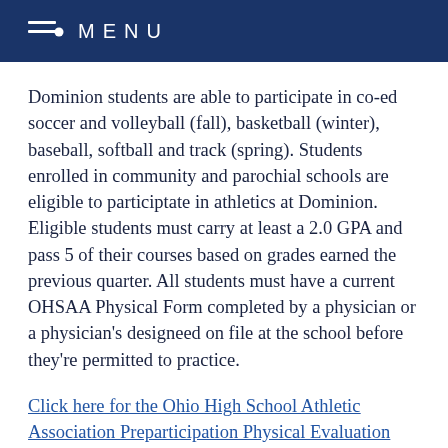MENU
Dominion students are able to participate in co-ed soccer and volleyball (fall), basketball (winter), baseball, softball and track (spring). Students enrolled in community and parochial schools are eligible to participtate in athletics at Dominion. Eligible students must carry at least a 2.0 GPA and pass 5 of their courses based on grades earned the previous quarter. All students must have a current OHSAA Physical Form completed by a physician or a physician's designeed on file at the school before they're permitted to practice.
Click here for the Ohio High School Athletic Association Preparticipation Physical Evaluation form